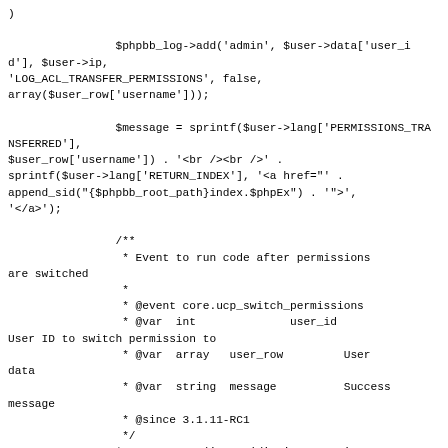)

                $phpbb_log->add('admin', $user->data['user_id'], $user->ip,
'LOG_ACL_TRANSFER_PERMISSIONS', false,
array($user_row['username']));

                $message = sprintf($user->lang['PERMISSIONS_TRANSFERRED'],
$user_row['username']) . '<br /><br />' .
sprintf($user->lang['RETURN_INDEX'], '<a href="' .
append_sid("{$phpbb_root_path}index.$phpEx") . '">' ,
'</a>');

                /**
                 * Event to run code after permissions are switched
                 *
                 * @event core.ucp_switch_permissions
                 * @var  int              user_id         User ID to switch permission to
                 * @var  array   user_row        User data
                 * @var  string  message         Success message
                 * @since 3.1.11-RC1
                 */
                $vars = array('user_id', 'user_row',
'message');

                extract($phpbb_dispatcher->trigger_event('core.ucp_switch_permissions',